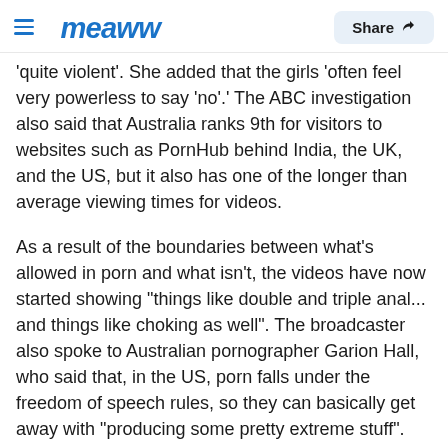meaww  Share
'quite violent'. She added that the girls 'often feel very powerless to say 'no'.' The ABC investigation also said that Australia ranks 9th for visitors to websites such as PornHub behind India, the UK, and the US, but it also has one of the longer than average viewing times for videos.
As a result of the boundaries between what's allowed in porn and what isn't, the videos have now started showing "things like double and triple anal... and things like choking as well". The broadcaster also spoke to Australian pornographer Garion Hall, who said that, in the US, porn falls under the freedom of speech rules, so they can basically get away with "producing some pretty extreme stuff".